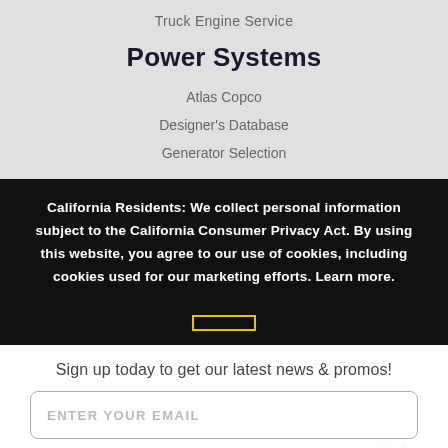Truck Engine Service
Power Systems
Atlas Copco
Designer's Database
Generator Selection
California Residents: We collect personal information subject to the California Consumer Privacy Act. By using this website, you agree to our use of cookies, including cookies used for our marketing efforts. Learn more.
Sign up today to get our latest news & promos!
ENTER YOUR EMAIL
Subscribe!